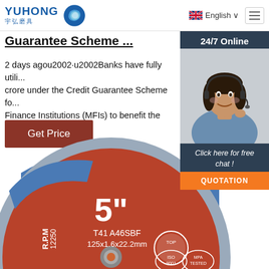[Figure (logo): YUHONG logo with Chinese text 宇弘磨具 and blue wave icon]
English ∨
Guarantee Scheme ...
2 days agou2002·u2002Banks have fully utili... crore under the Credit Guarantee Scheme fo... Finance Institutions (MFIs) to benefit the sma...
Get Price
[Figure (photo): Customer service woman with headset smiling, 24/7 Online sidebar panel with 'Click here for free chat!' and QUOTATION button]
[Figure (photo): Grinding/cutting disc 5 inch, T41 A46SBF 125x1.6x22.2mm, R.P.M 12250, with ISO 9001 and MPA Tested certification badges]